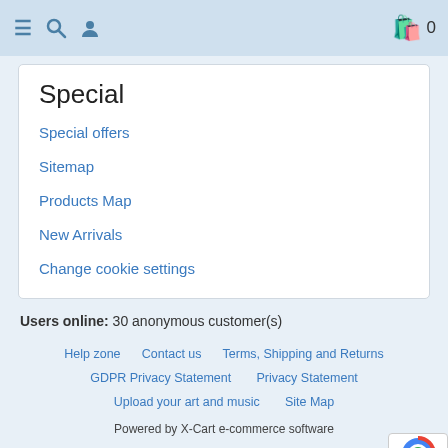≡ 🔍 👤   🛍 0
Special
Special offers
Sitemap
Products Map
New Arrivals
Change cookie settings
Users online:  30 anonymous customer(s)
Help zone   Contact us   Terms, Shipping and Returns   GDPR Privacy Statement   Privacy Statement   Upload your art and music   Site Map
Powered by X-Cart e-commerce software
Copyright © 1989-2022 Duplication.ca . This product includes GeoLite created by MaxMind, available from http://www.maxmind.com.